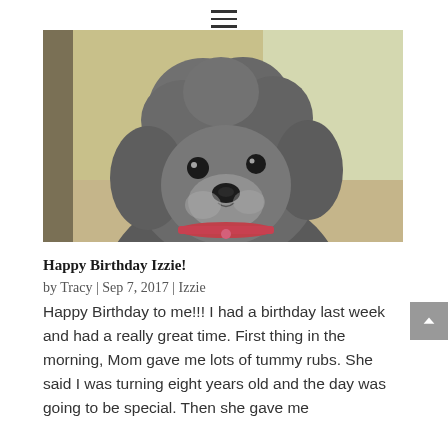[Figure (photo): Close-up photo of a grey/silver curly-haired miniature poodle dog with a pink collar, looking at the camera with a bokeh background.]
Happy Birthday Izzie!
by Tracy | Sep 7, 2017 | Izzie
Happy Birthday to me!!! I had a birthday last week and had a really great time. First thing in the morning, Mom gave me lots of tummy rubs. She said I was turning eight years old and the day was going to be special. Then she gave me